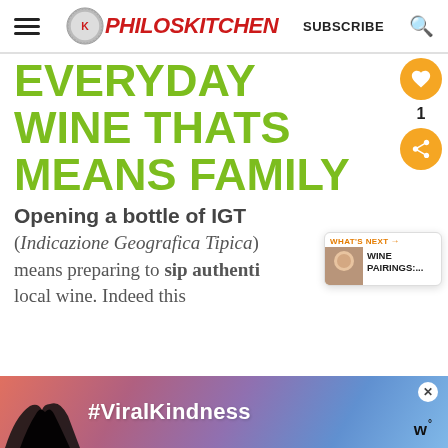Philos Kitchen — SUBSCRIBE
EVERYDAY WINE THATS MEANS FAMILY
Opening a bottle of IGT
(Indicazione Geografica Tipica) means preparing to sip authentic local wine. Indeed this
[Figure (infographic): What's Next callout bubble: WINE PAIRINGS:....]
[Figure (infographic): Advertisement banner with #ViralKindness hashtag and heart-hands silhouette]